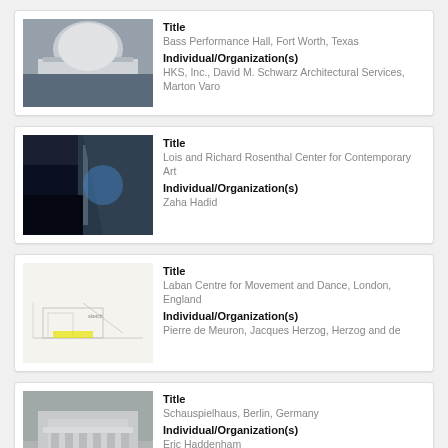[Figure (photo): Photo of Bass Performance Hall, Fort Worth, Texas – a neoclassical concert hall exterior]
Title
Bass Performance Hall, Fort Worth, Texas
Individual/Organization(s)
HKS, Inc., David M. Schwarz Architectural Services, Marton Varo
[Figure (photo): Interior photo of the Lois and Richard Rosenthal Center for Contemporary Art]
Title
Lois and Richard Rosenthal Center for Contemporary Art
Individual/Organization(s)
Zaha Hadid
[Figure (illustration): Architectural sketch/drawing of Laban Centre for Movement and Dance, London, England]
Title
Laban Centre for Movement and Dance, London, England
Individual/Organization(s)
Pierre de Meuron, Jacques Herzog, Herzog and de
[Figure (photo): Photo of Schauspielhaus, Berlin, Germany – a neoclassical theatre building]
Title
Schauspielhaus, Berlin, Germany
Individual/Organization(s)
Eric Haddenham